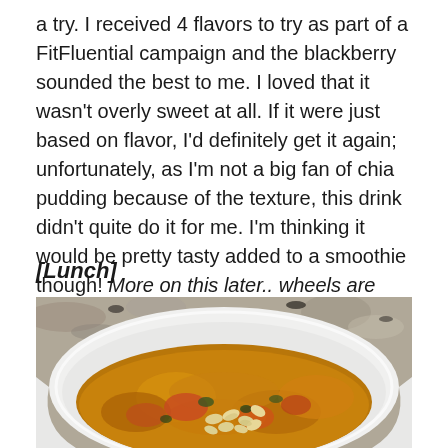a try. I received 4 flavors to try as part of a FitFluential campaign and the blackberry sounded the best to me. I loved that it wasn't overly sweet at all. If it were just based on flavor, I'd definitely get it again; unfortunately, as I'm not a big fan of chia pudding because of the texture, this drink didn't quite do it for me. I'm thinking it would be pretty tasty added to a smoothie though! More on this later.. wheels are turning!
[Lunch]
[Figure (photo): A white bowl containing a thick golden-orange soup or stew, garnished with pine nuts on top, photographed from above on a granite countertop.]